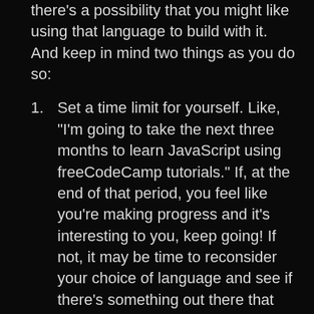there's a possibility that you might like using that language to build with it.  And keep in mind two things as you do so:
Set a time limit for yourself. Like, "I'm going to take the next three months to learn JavaScript using freeCodeCamp tutorials." If, at the end of that period, you feel like you're making progress and it's interesting to you, keep going! If not, it may be time to reconsider your choice of language and see if there's something out there that might be a better fit for you.